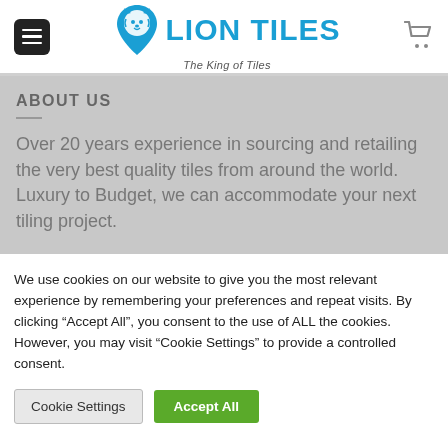[Figure (logo): Lion Tiles logo — blue lion head icon with text 'LION TILES' in blue and tagline 'The King of Tiles' below]
ABOUT US
Over 20 years experience in sourcing and retailing the very best quality tiles from around the world. Luxury to Budget, we can accommodate your next tiling project.
We use cookies on our website to give you the most relevant experience by remembering your preferences and repeat visits. By clicking "Accept All", you consent to the use of ALL the cookies. However, you may visit "Cookie Settings" to provide a controlled consent.
Cookie Settings | Accept All